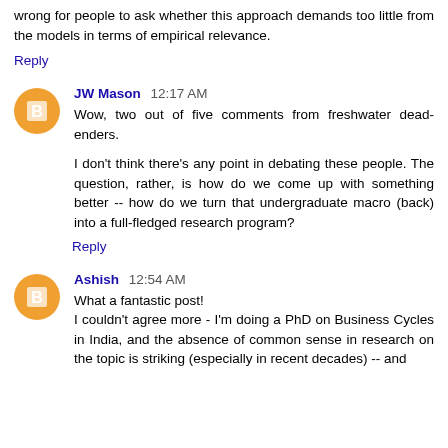wrong for people to ask whether this approach demands too little from the models in terms of empirical relevance.
Reply
JW Mason 12:17 AM
Wow, two out of five comments from freshwater dead-enders.
I don't think there's any point in debating these people. The question, rather, is how do we come up with something better -- how do we turn that undergraduate macro (back) into a full-fledged research program?
Reply
Ashish 12:54 AM
What a fantastic post! I couldn't agree more - I'm doing a PhD on Business Cycles in India, and the absence of common sense in research on the topic is striking (especially in recent decades) -- and